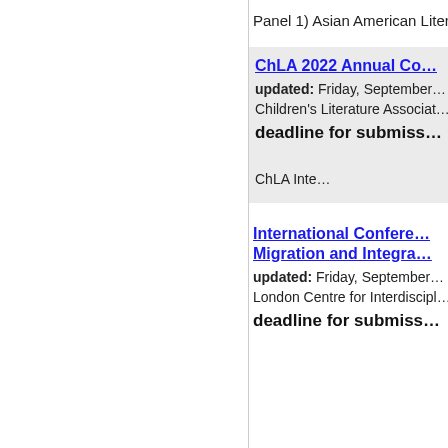Panel 1) Asian American Liter…
ChLA 2022 Annual Co…
updated: Friday, September…
Children's Literature Associat…
deadline for submiss…
ChLA Inte…
International Confere…
Migration and Integra…
updated: Friday, September…
London Centre for Interdiscipl…
deadline for submiss…